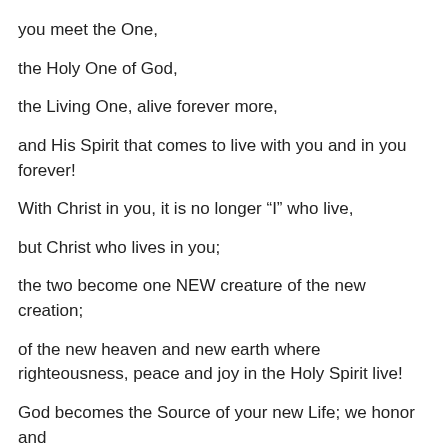you meet the One,
the Holy One of God,
the Living One, alive forever more,
and His Spirit that comes to live with you and in you forever!
With Christ in you, it is no longer “I” who live,
but Christ who lives in you;
the two become one NEW creature of the new creation;
of the new heaven and new earth where righteousness, peace and joy in the Holy Spirit live!
God becomes the Source of your new Life; we honor and